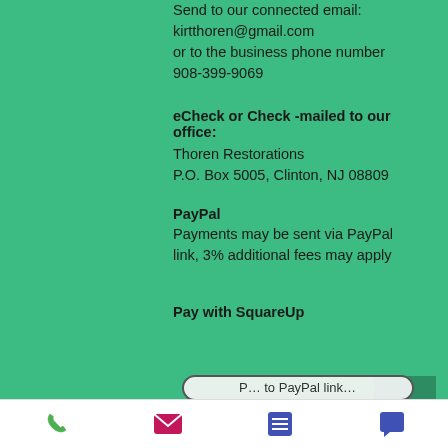Send to our connected email: kirtthoren@gmail.com or to the business phone number 908-399-9069
eCheck or Check -mailed to our office:
Thoren Restorations
P.O. Box 5005, Clinton, NJ 08809
PayPal
Payments may be sent via PayPal link, 3% additional fees may apply
Pay with SquareUp
[Figure (illustration): Back to top arrow button (dark green square with white chevron up)]
[Figure (illustration): Rounded rectangle button partially visible at bottom, labeled with PayPal link text]
Phone icon | Mail icon | Menu icon | Chat icon